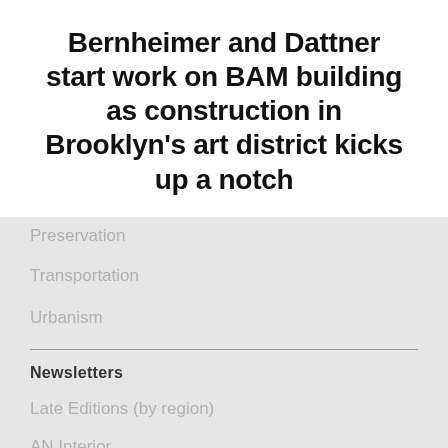Bernheimer and Dattner start work on BAM building as construction in Brooklyn's art district kicks up a notch
Preservation
Transportation
Urbanism
Newsletters
Late Editions (by region)
AN Interior
Facades+
CE Strong
Outdoor Spaces